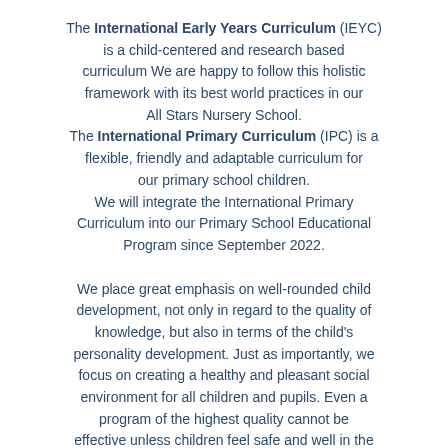The International Early Years Curriculum (IEYC) is a child-centered and research based curriculum We are happy to follow this holistic framework with its best world practices in our All Stars Nursery School. The International Primary Curriculum (IPC) is a flexible, friendly and adaptable curriculum for our primary school children. We will integrate the International Primary Curriculum into our Primary School Educational Program since September 2022.
We place great emphasis on well-rounded child development, not only in regard to the quality of knowledge, but also in terms of the child's personality development. Just as importantly, we focus on creating a healthy and pleasant social environment for all children and pupils. Even a program of the highest quality cannot be effective unless children feel safe and well in the school community, therefore, we also focus on prevention of bullying among both school and preschool children in order to provide a positive